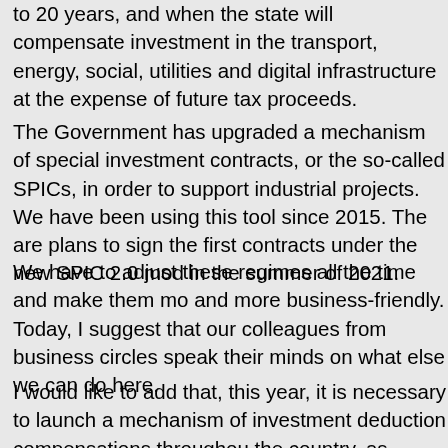to 20 years, and when the state will compensate investment in the transport, energy, social, utilities and digital infrastructure at the expense of future tax proceeds.
The Government has upgraded a mechanism of special investment contracts, or the so-called SPICs, in order to support industrial projects. We have been using this tool since 2015. There are plans to sign the first contracts under the new SPIC 2.0 model in the summer of 2021.
We have to adjust these regimes all the time and make them more and more business-friendly. Today, I suggest that our colleagues from business circles speak their minds on what else we can do here.
I would like to add that, this year, it is necessary to launch a mechanism of investment deduction compensations throughout the country, as regards new projects. Two-thirds of revenues lost by regional budgets as a result of providing such deductions to businesses, will be compensated from the federal budget.